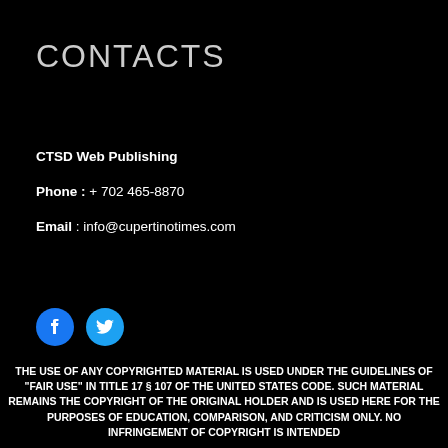CONTACTS
CTSD Web Publishing
Phone : + 702 465-8870
Email : info@cupertinotimes.com
[Figure (logo): Facebook and Twitter social media icons in blue on black background]
THE USE OF ANY COPYRIGHTED MATERIAL IS USED UNDER THE GUIDELINES OF "FAIR USE" IN TITLE 17 § 107 OF THE UNITED STATES CODE. SUCH MATERIAL REMAINS THE COPYRIGHT OF THE ORIGINAL HOLDER AND IS USED HERE FOR THE PURPOSES OF EDUCATION, COMPARISON, AND CRITICISM ONLY. NO INFRINGEMENT OF COPYRIGHT IS INTENDED